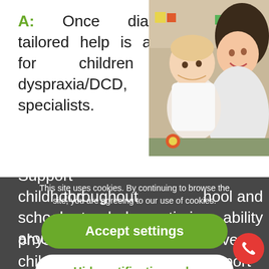A: Once diagnosed, tailored help is available for children with dyspraxia/DCD, from specialists. Support throughout childhood, school and school, to help optimise ability around physical activities, every child's support plan will be customised for each. Support may involve a variety of professionals who
[Figure (photo): A mother and baby/toddler playing together on the floor, colorful toys in background]
This site uses cookies. By continuing to browse the site, you are agreeing to our use of cookies.
Accept settings
Hide notification only